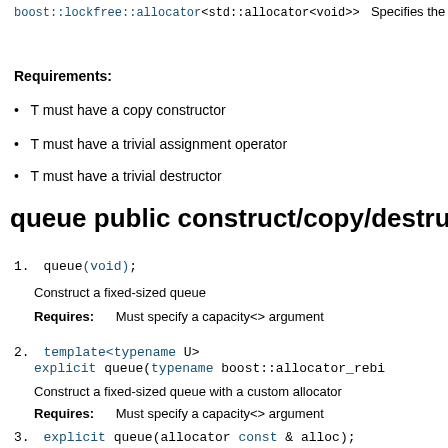boost::lockfree::allocator<std::allocator<void>>  Specifies the allocator that is used for the internal freelist
Requirements:
T must have a copy constructor
T must have a trivial assignment operator
T must have a trivial destructor
queue public construct/copy/destruct
1. queue(void);  Construct a fixed-sized queue  Requires: Must specify a capacity<> argument
2. template<typename U>  explicit queue(typename boost::allocator_rebi  Construct a fixed-sized queue with a custom allocator  Requires: Must specify a capacity<> argument
3. explicit queue(allocator const & alloc);